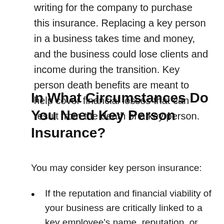writing for the company to purchase this insurance. Replacing a key person in a business takes time and money, and the business could lose clients and income during the transition. Key person death benefits are meant to help cover financial losses that can result from the death of a key person.
In What Circumstances Do You Need Key Person Insurance?
You may consider key person insurance:
If the reputation and financial viability of your business are critically linked to a key employee's name, reputation, or skills, and the death of that